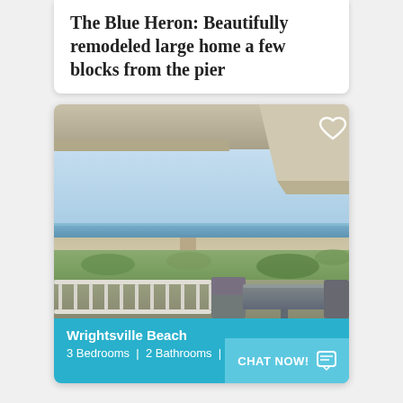The Blue Heron: Beautifully remodeled large home a few blocks from the pier
[Figure (photo): Exterior photo of a beach house deck/balcony with white railings, outdoor table and chairs, overlooking a sandy beach with ocean and blue sky in the background.]
Wrightsville Beach
3 Bedrooms | 2 Bathrooms | Sle...
CHAT NOW!